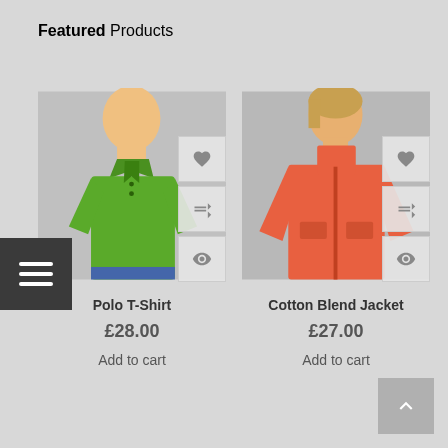Featured Products
[Figure (photo): Young man wearing a green polo t-shirt, shown from waist up]
Polo T-Shirt
£28.00
Add to cart
[Figure (photo): Woman wearing an orange/coral cotton blend zip-up jacket with teal shirt underneath]
Cotton Blend Jacket
£27.00
Add to cart